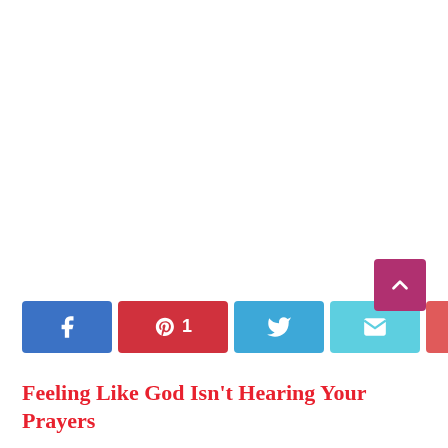[Figure (infographic): Social share bar with Facebook, Pinterest (1), Twitter, Email, and More (+) buttons, plus a share count of 62 SHARES and a scroll-to-top button]
Feeling Like God Isn't Hearing Your Prayers